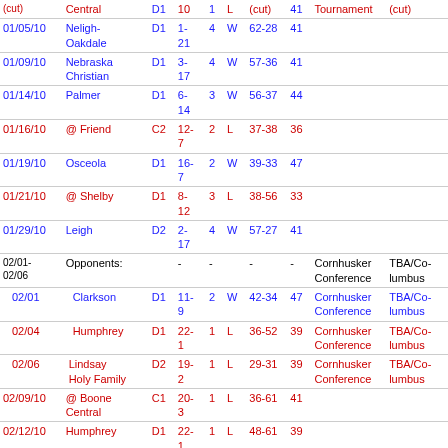| Date | Opponent | Class | Record | Qtr | W/L | Score | Pts | Conference | Location |
| --- | --- | --- | --- | --- | --- | --- | --- | --- | --- |
| (cut) | Central | D1 | 10 | 1 | L | (cut) | 41 | Tournament | (cut) |
| 01/05/10 | Neligh-Oakdale | D1 | 1-21 | 4 | W | 62-28 | 41 |  |  |
| 01/09/10 | Nebraska Christian | D1 | 3-17 | 4 | W | 57-36 | 41 |  |  |
| 01/14/10 | Palmer | D1 | 6-14 | 3 | W | 56-37 | 44 |  |  |
| 01/16/10 | @ Friend | C2 | 12-7 | 2 | L | 37-38 | 36 |  |  |
| 01/19/10 | Osceola | D1 | 16-7 | 2 | W | 39-33 | 47 |  |  |
| 01/21/10 | @ Shelby | D1 | 8-12 | 3 | L | 38-56 | 33 |  |  |
| 01/29/10 | Leigh | D2 | 2-17 | 4 | W | 57-27 | 41 |  |  |
| 02/01-02/06 | Opponents: - |  | - | - |  | - | - | Cornhusker Conference | TBA/Columbus |
| 02/01 | Clarkson | D1 | 11-9 | 2 | W | 42-34 | 47 | Cornhusker Conference | TBA/Columbus |
| 02/04 | Humphrey | D1 | 22-1 | 1 | L | 36-52 | 39 | Cornhusker Conference | TBA/Columbus |
| 02/06 | Lindsay Holy Family | D2 | 19-2 | 1 | L | 29-31 | 39 | Cornhusker Conference | TBA/Columbus |
| 02/09/10 | @ Boone Central | C1 | 20-3 | 1 | L | 36-61 | 41 |  |  |
| 02/12/10 | Humphrey | D1 | 22-1 | 1 | L | 48-61 | 39 |  |  |
| 02/16/10 | Twin River | C2 | 11-? | 2 | L | 36-49 | 36 |  |  |